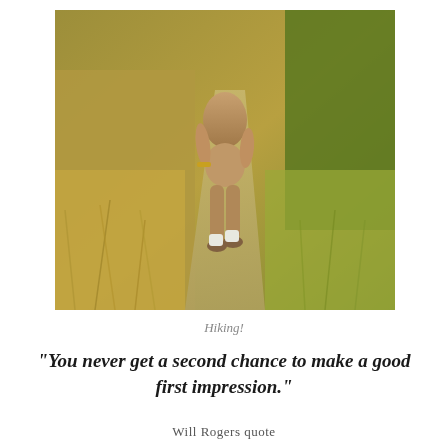[Figure (photo): A person walking away on a dirt trail through golden dry grass and green shrubs, photographed from behind.]
Hiking!
“You never get a second chance to make a good first impression.”
Will Rogers quote